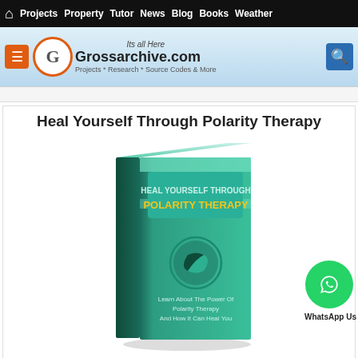Home Projects Property Tutor News Blog Books Weather
[Figure (logo): Grossarchive.com website header with orange menu button, G logo circle, site name and tagline, and blue search button. Tagline: Projects * Research * Source Codes & More. Slogan: Its all Here]
Heal Yourself Through Polarity Therapy
[Figure (photo): Book cover titled 'Heal Yourself Through Polarity Therapy' with teal/green color scheme and text 'Learn About The Power Of Polarity Therapy And How It Can Heal You']
Heal Yourself Through Polarity Therapy Repolarise Your....Learn About The Power Of Polarity ....Read More
Heal Yourself Through Hologram Therapy